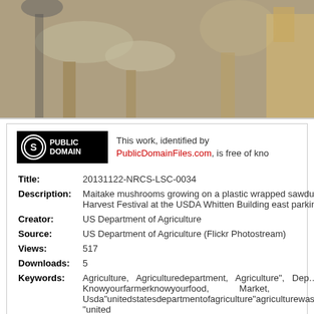[Figure (photo): Close-up photograph of maitake mushrooms growing on plastic wrapped sawdust logs, blurred background with stone/concrete structures visible]
This work, identified by PublicDomainFiles.com, is free of kno...
| Title: | 20131122-NRCS-LSC-0034 |
| Description: | Maitake mushrooms growing on a plastic wrapped sawdust... Harvest Festival at the USDA Whitten Building east parking lo... |
| Creator: | US Department of Agriculture |
| Source: | US Department of Agriculture (Flickr Photostream) |
| Views: | 517 |
| Downloads: | 5 |
| Keywords: | Agriculture, Agriculturedepartment, Agriculture", Dep... Knowyourfarmerknowyourfood, Market, Usda"unitedstatesdepartmentofagriculture"agriculturewashing... "united |
| Date Added: | May 18, 2014 |
Download Options:
Download: Sm
Size: 958 x 639
File size: 127.8 KB
File type: jpg